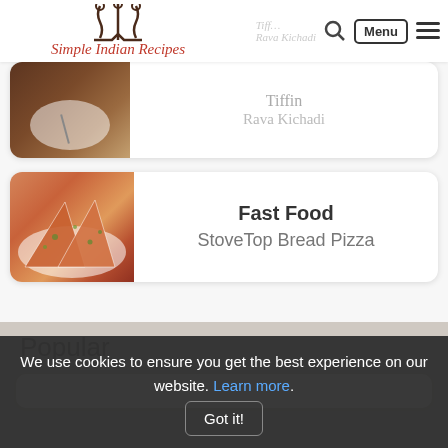Simple Indian Recipes — header with logo, search, Menu button, hamburger
[Figure (photo): Partial recipe card showing a Tiffin / Rava Khichadi dish photo on the left and category text on the right]
[Figure (photo): Recipe card with triangular pizza slices on a white plate; category: Fast Food; title: StoveTop Bread Pizza]
Popular
[Figure (photo): Partial white card stub at bottom of Popular section]
We use cookies to ensure you get the best experience on our website. Learn more. Got it!